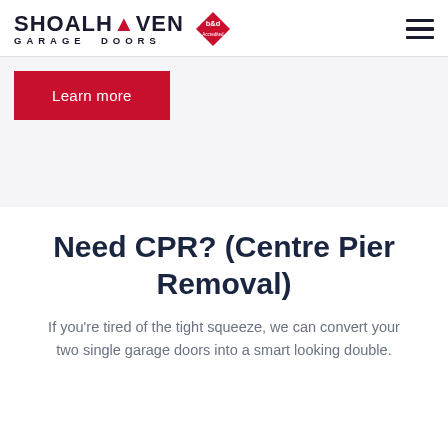SHOALH▲VEN GARAGE DOORS [b&d Accredited logo] [hamburger menu]
Learn more
Need CPR? (Centre Pier Removal)
If you're tired of the tight squeeze, we can convert your two single garage doors into a smart looking double.